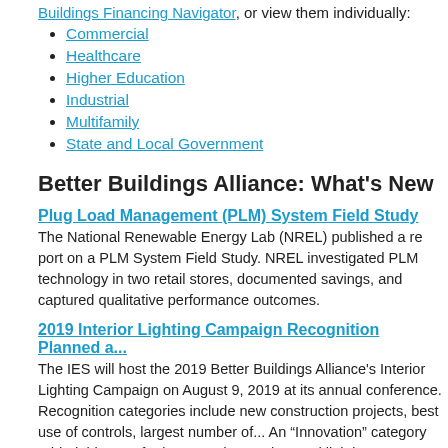Buildings Financing Navigator, or view them individually:
Commercial
Healthcare
Higher Education
Industrial
Multifamily
State and Local Government
Better Buildings Alliance: What's New
Plug Load Management (PLM) System Field Study
The National Renewable Energy Lab (NREL) published a report on a PLM System Field Study. NREL investigated PLM technology in two retail stores, documented savings, and captured qualitative performance outcomes.
2019 Interior Lighting Campaign Recognition Planned a...
The IES will host the 2019 Better Buildings Alliance's Interior Lighting Campaign on August 9, 2019 at its annual conference. Recognition categories include new construction projects, best use of controls, largest number of... An "Innovation" category added this year for integrated controls... and lighting. For more information, visit the ILC online.
Archived Webinars
Air Management Solutions for Small- to Medium-Sized...